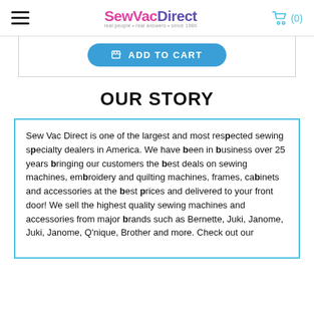SewVacDirect — real people · real answers · since 1986 | (0)
[Figure (screenshot): Add to Cart button (blue rounded rectangle) with cart icon]
OUR STORY
Sew Vac Direct is one of the largest and most respected sewing specialty dealers in America. We have been in business over 25 years bringing our customers the best deals on sewing machines, embroidery and quilting machines, frames, cabinets and accessories at the best prices and delivered to your front door! We sell the highest quality sewing machines and accessories from major brands such as Bernette, Juki, Janome, Juki, Janome, Q'nique, Brother and more. Check out our